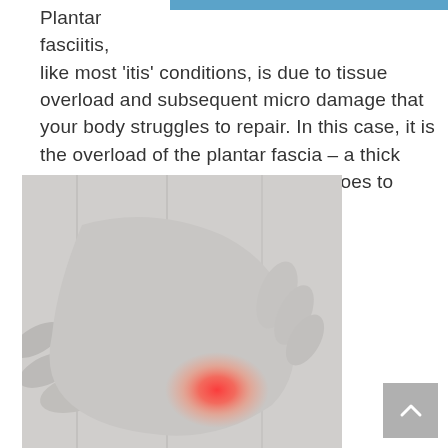Plantar fasciitis, like most 'itis' conditions, is due to tissue overload and subsequent micro damage that your body struggles to repair. In this case, it is the overload of the plantar fascia – a thick band of tissue that runs from your toes to your heels.
[Figure (photo): Black and white photograph of a person's foot and heel being held, with a red highlighted area at the heel indicating pain from plantar fasciitis.]